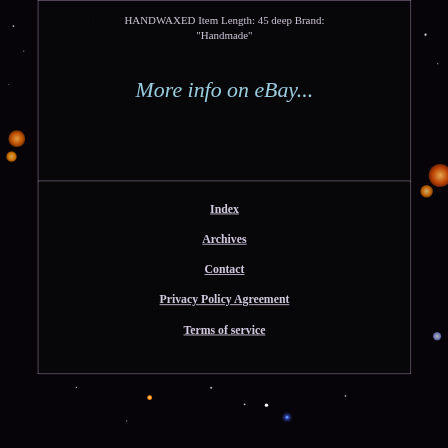HANDWAXED Item Length: 45 deep Brand: "Handmade"
More info on eBay...
Index
Archives
Contact
Privacy Policy Agreement
Terms of service